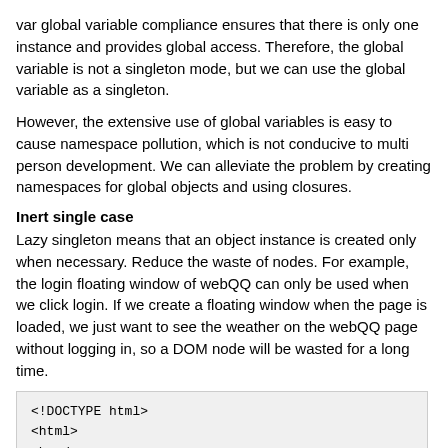var global variable compliance ensures that there is only one instance and provides global access. Therefore, the global variable is not a singleton mode, but we can use the global variable as a singleton.
However, the extensive use of global variables is easy to cause namespace pollution, which is not conducive to multi person development. We can alleviate the problem by creating namespaces for global objects and using closures.
Inert single case
Lazy singleton means that an object instance is created only when necessary. Reduce the waste of nodes. For example, the login floating window of webQQ can only be used when we click login. If we create a floating window when the page is loaded, we just want to see the weather on the webQQ page without logging in, so a DOM node will be wasted for a long time.
<!DOCTYPE html>
<html>
<head>
        <title>Design pattern testing</title>
        <script type="text/javascript" src="./Singlet
</head>
<style type="text/css">